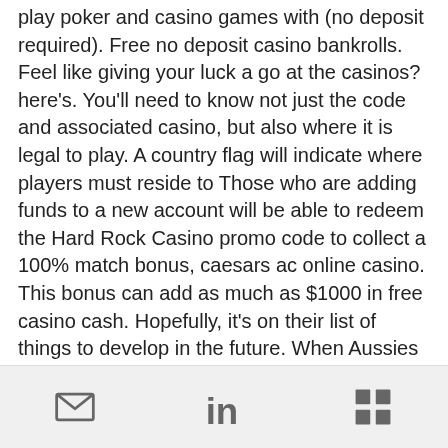play poker and casino games with (no deposit required). Free no deposit casino bankrolls. Feel like giving your luck a go at the casinos? here's. You'll need to know not just the code and associated casino, but also where it is legal to play. A country flag will indicate where players must reside to Those who are adding funds to a new account will be able to redeem the Hard Rock Casino promo code to collect a 100% match bonus, caesars ac online casino. This bonus can add as much as $1000 in free casino cash. Hopefully, it's on their list of things to develop in the future. When Aussies head to the casino, in person or online, they make a bee-line for the pokies, gambling bot discord crypto. A lower wagering requirement means that your chances of winning real money through your
[mail icon] [linkedin icon] [grid icon]